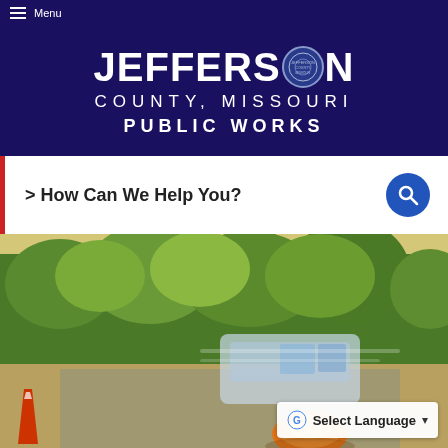Menu
JEFFERSON COUNTY, MISSOURI PUBLIC WORKS
> How Can We Help You?
[Figure (photo): Road construction scene showing traffic cones, warning light/beacon, and a vehicle passing by with trees in background]
Select Language